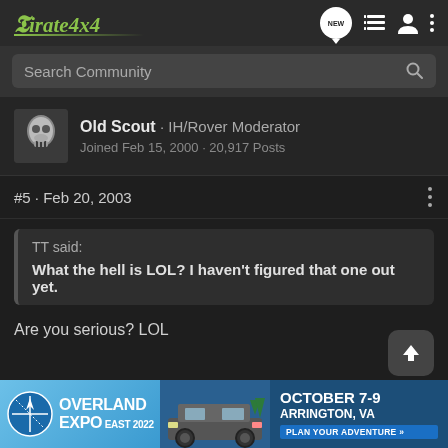Pirate4x4
Search Community
Old Scout · IH/Rover Moderator
Joined Feb 15, 2000 · 20,917 Posts
#5 · Feb 20, 2003
TT said:
What the hell is LOL? I haven't figured that one out yet.
Are you serious? LOL
[Figure (infographic): Overland Expo East 2022 advertisement banner: October 7-9, Arrington, VA. Plan Your Adventure.]